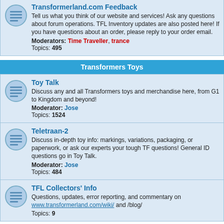Transformerland.com Feedback — Tell us what you think of our website and services! Ask any questions about forum operations. TFL Inventory updates are also posted here! If you have questions about an order, please reply to your order email. Moderators: Time Traveller, trance Topics: 495
Transformers Toys
Toy Talk — Discuss any and all Transformers toys and merchandise here, from G1 to Kingdom and beyond! Moderator: Jose Topics: 1524
Teletraan-2 — Discuss in-depth toy info: markings, variations, packaging, or paperwork, or ask our experts your tough TF questions! General ID questions go in Toy Talk. Moderator: Jose Topics: 484
TFL Collectors' Info — Questions, updates, error reporting, and commentary on www.transformerland.com/wiki/ and /blog/ Topics: 9
Transformers Universe
Non-Toy Talk — Discuss transformers cartoons, comics, movies, upcoming TF events and conventions, etc. Moderators: Time Traveller, Kup Topics: 537